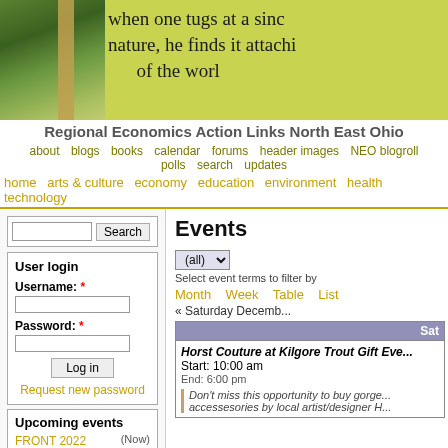[Figure (photo): Website banner with photo of trees and pillar on left, yellow-green background with handwritten text 'when one tugs at a sing... nature, he finds it attachi... of the worl...' on right]
Regional Economics Action Links North East Ohio
about  blogs  books  calendar  forums  header images  NEO blogroll  polls  search  updates
home  arts & culture  economy  education  environment  health  technology
Search
User login
Username: *
Password: *
Log in
Request new password
Upcoming events
FRONT 2022 (Now)
Events
(all)
Select event terms to filter by
Month  Week  Table  List
« Saturday Decemb...
| Sat |
| --- |
| Horst Couture at Kilgore Trout Gift Eve...
Start: 10:00 am
End: 6:00 pm
Don't miss this opportunity to buy gorge... accessesories by local artist/designer H... |